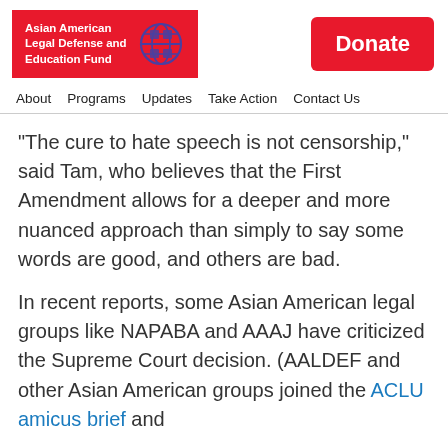[Figure (logo): Asian American Legal Defense and Education Fund logo with red background and globe icon]
[Figure (other): Red Donate button]
About  Programs  Updates  Take Action  Contact Us
“The cure to hate speech is not censorship,” said Tam, who believes that the First Amendment allows for a deeper and more nuanced approach than simply to say some words are good, and others are bad.
In recent reports, some Asian American legal groups like NAPABA and AAAJ have criticized the Supreme Court decision. (AALDEF and other Asian American groups joined the ACLU amicus brief and